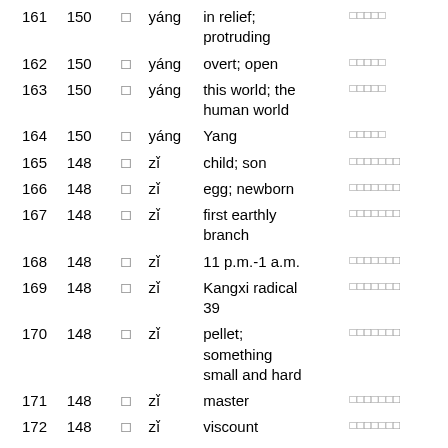| # | Freq | Char | Pinyin | Meaning | CJK |
| --- | --- | --- | --- | --- | --- |
| 161 | 150 | □ | yáng | in relief; protruding | □□□□□ |
| 162 | 150 | □ | yáng | overt; open | □□□□□ |
| 163 | 150 | □ | yáng | this world; the human world | □□□□□ |
| 164 | 150 | □ | yáng | Yang | □□□□□ |
| 165 | 148 | □ | zǐ | child; son | □□□□□□□ |
| 166 | 148 | □ | zǐ | egg; newborn | □□□□□□□ |
| 167 | 148 | □ | zǐ | first earthly branch | □□□□□□□ |
| 168 | 148 | □ | zǐ | 11 p.m.-1 a.m. | □□□□□□□ |
| 169 | 148 | □ | zǐ | Kangxi radical 39 | □□□□□□□ |
| 170 | 148 | □ | zǐ | pellet; something small and hard | □□□□□□□ |
| 171 | 148 | □ | zǐ | master | □□□□□□□ |
| 172 | 148 | □ | zǐ | viscount | □□□□□□□ |
| 173 | 148 | □ | zi | you; your honor | □□□□□□□ |
| 174 | 148 | □ | zǐ | masters | □□□□□□□ |
| 175 | 148 | □ | zǐ | person | □□□□□□□ |